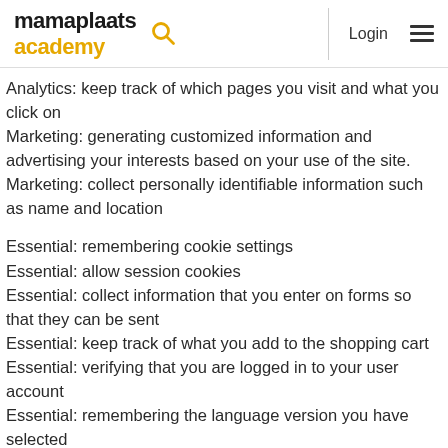mamaplaats academy
Analytics: keep track of which pages you visit and what you click on
Marketing: generating customized information and advertising your interests based on your use of the site.
Marketing: collect personally identifiable information such as name and location
Essential: remembering cookie settings
Essential: allow session cookies
Essential: collect information that you enter on forms so that they can be sent
Essential: keep track of what you add to the shopping cart
Essential: verifying that you are logged in to your user account
Essential: remembering the language version you have selected